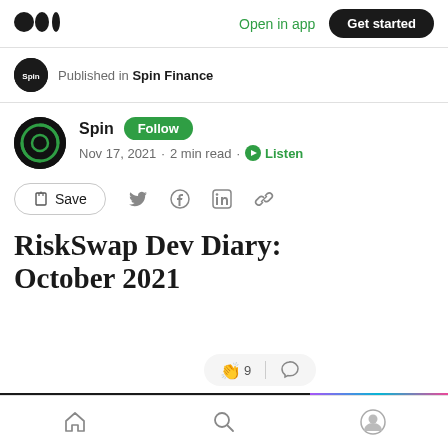Open in app  Get started
Published in Spin Finance
Spin  Follow
Nov 17, 2021 · 2 min read · Listen
Save
RiskSwap Dev Diary: October 2021
Home  Search  Profile